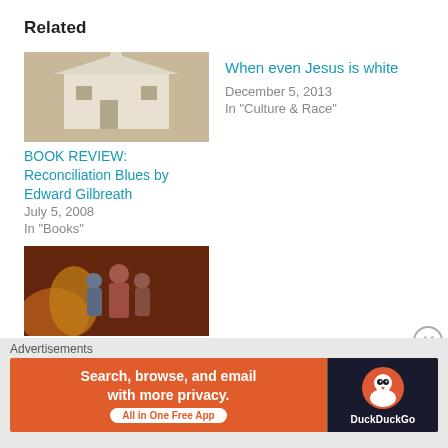Related
[Figure (photo): Photo of a white wooden church/building with a banner reading RECONCILIATION]
BOOK REVIEW: Reconciliation Blues by Edward Gilbreath
July 5, 2008
In "Books"
When even Jesus is white
December 5, 2013
In "Culture & Race"
[Figure (photo): Painting/illustration of people (children and adult) in front of fire]
The problem with over-
Advertisements
[Figure (screenshot): DuckDuckGo advertisement banner: Search, browse, and email with more privacy. All in One Free App. DuckDuckGo logo.]